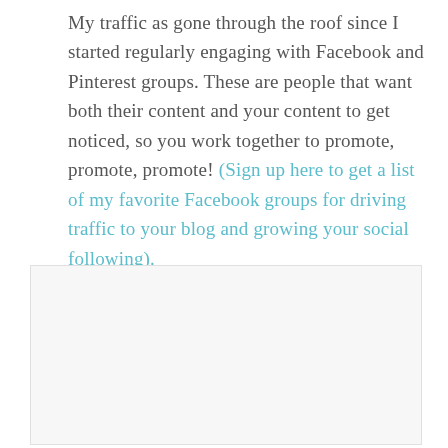My traffic as gone through the roof since I started regularly engaging with Facebook and Pinterest groups. These are people that want both their content and your content to get noticed, so you work together to promote, promote, promote! (Sign up here to get a list of my favorite Facebook groups for driving traffic to your blog and growing your social following).
[Figure (other): Empty light gray image box placeholder]